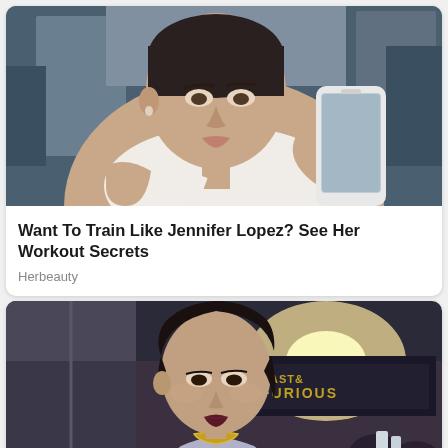[Figure (photo): A woman (Jennifer Lopez) taking a gym mirror selfie with a white iPhone X, wearing a white tank top, hair pulled back, gym equipment visible in background]
Want To Train Like Jennifer Lopez? See Her Workout Secrets
Herbeauty
[Figure (photo): A woman (Gal Gadot) at a Fast & Furious movie premiere, wearing a gray dress with gold necklace, dark lipstick, crowd and 'FAST & FURIOUS' banner visible in background]